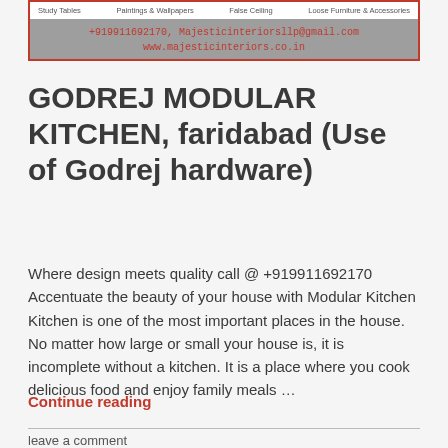Study Tables | Paintings & Wallpapers | False Ceiling | Loose Furniture & Accessories | +919911692170, Majesticinteriorsllp@gmail.com | www.majesticinteriors.co.in
GODREJ MODULAR KITCHEN, faridabad (Use of Godrej hardware)
Where design meets quality call @ +919911692170 Accentuate the beauty of your house with Modular Kitchen Kitchen is one of the most important places in the house. No matter how large or small your house is, it is incomplete without a kitchen. It is a place where you cook delicious food and enjoy family meals …
Continue reading
leave a comment